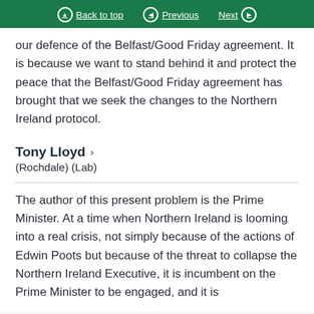Back to top   Previous   Next
our defence of the Belfast/Good Friday agreement. It is because we want to stand behind it and protect the peace that the Belfast/Good Friday agreement has brought that we seek the changes to the Northern Ireland protocol.
Tony Lloyd  (Rochdale) (Lab)
The author of this present problem is the Prime Minister. At a time when Northern Ireland is looming into a real crisis, not simply because of the actions of Edwin Poots but because of the threat to collapse the Northern Ireland Executive, it is incumbent on the Prime Minister to be engaged, and it is